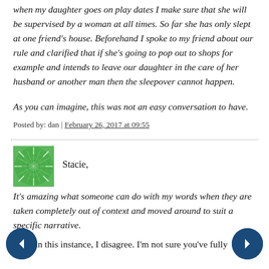when my daughter goes on play dates I make sure that she will be supervised by a woman at all times. So far she has only slept at one friend's house. Beforehand I spoke to my friend about our rule and clarified that if she's going to pop out to shops for example and intends to leave our daughter in the care of her husband or another man then the sleepover cannot happen.
As you can imagine, this was not an easy conversation to have.
Posted by: dan | February 26, 2017 at 09:55
Stacie,
It's amazing what someone can do with my words when they are taken completely out of context and moved around to suit a specific narrative.
Well, in this instance, I disagree. I'm not sure you've fully